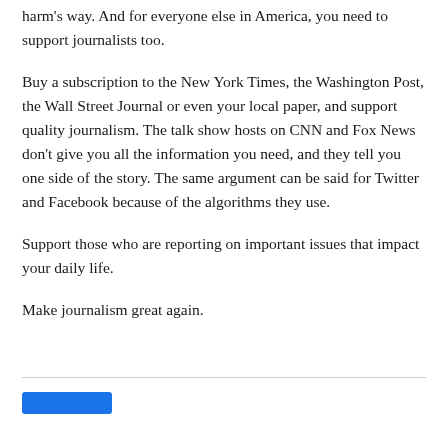harm's way. And for everyone else in America, you need to support journalists too.
Buy a subscription to the New York Times, the Washington Post, the Wall Street Journal or even your local paper, and support quality journalism. The talk show hosts on CNN and Fox News don't give you all the information you need, and they tell you one side of the story. The same argument can be said for Twitter and Facebook because of the algorithms they use.
Support those who are reporting on important issues that impact your daily life.
Make journalism great again.